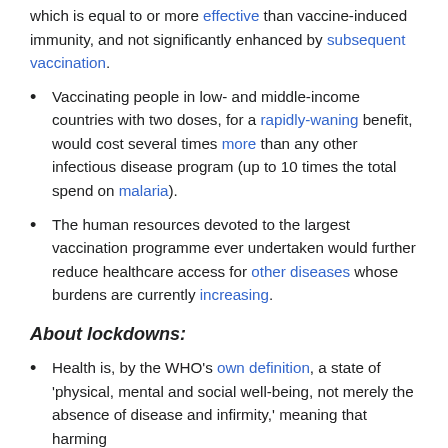which is equal to or more effective than vaccine-induced immunity, and not significantly enhanced by subsequent vaccination.
Vaccinating people in low- and middle-income countries with two doses, for a rapidly-waning benefit, would cost several times more than any other infectious disease program (up to 10 times the total spend on malaria).
The human resources devoted to the largest vaccination programme ever undertaken would further reduce healthcare access for other diseases whose burdens are currently increasing.
About lockdowns:
Health is, by the WHO's own definition, a state of 'physical, mental and social well-being, not merely the absence of disease and infirmity,' meaning that harming